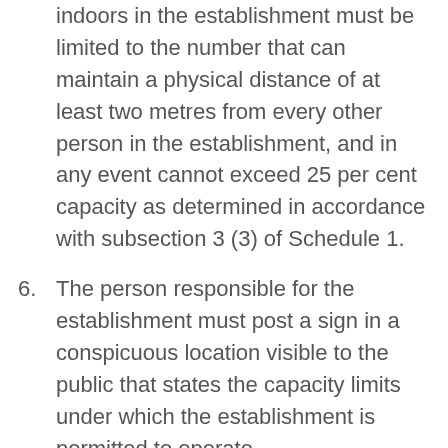indoors in the establishment must be limited to the number that can maintain a physical distance of at least two metres from every other person in the establishment, and in any event cannot exceed 25 per cent capacity as determined in accordance with subsection 3 (3) of Schedule 1.
6. The person responsible for the establishment must post a sign in a conspicuous location visible to the public that states the capacity limits under which the establishment is permitted to operate.
7. Music must not be played at a decibel level that exceeds the level at which normal